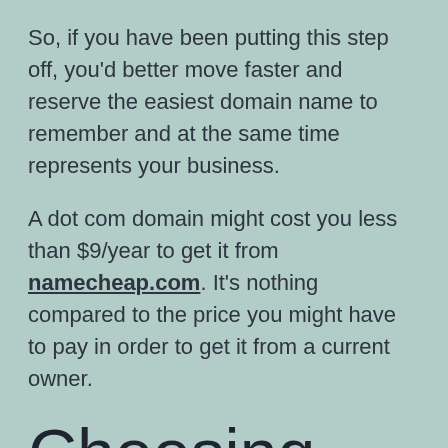So, if you have been putting this step off, you'd better move faster and reserve the easiest domain name to remember and at the same time represents your business.
A dot com domain might cost you less than $9/year to get it from namecheap.com. It's nothing compared to the price you might have to pay in order to get it from a current owner.
Choosing the Host